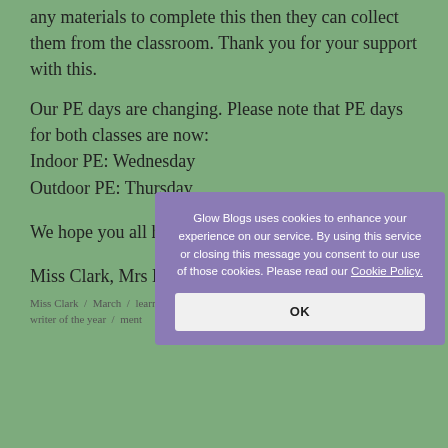any materials to complete this then they can collect them from the classroom. Thank you for your support with this.
Our PE days are changing. Please note that PE days for both classes are now:
Indoor PE: Wednesday
Outdoor PE: Thursday
We hope you all have a lovely weekend.
Miss Clark, Mrs Kelly & Mr Wylie
Miss Clark / March / learning / P6, PE, personal progress, show, Titanic, young writer of the year / Comment
[Figure (screenshot): Cookie consent modal overlay from Glow Blogs. Text reads: 'Glow Blogs uses cookies to enhance your experience on our service. By using this service or closing this message you consent to our use of those cookies. Please read our Cookie Policy.' with an OK button.]